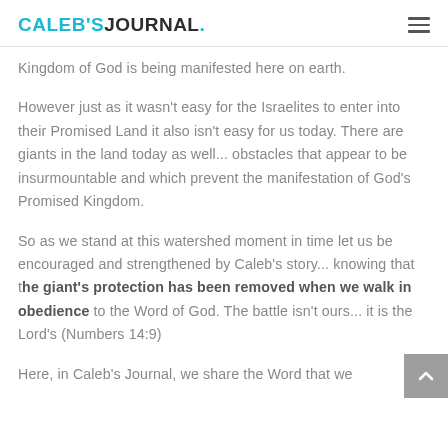CALEB'S JOURNAL.
Kingdom of God is being manifested here on earth.
However just as it wasn't easy for the Israelites to enter into their Promised Land it also isn't easy for us today. There are giants in the land today as well... obstacles that appear to be insurmountable and which prevent the manifestation of God's Promised Kingdom.
So as we stand at this watershed moment in time let us be encouraged and strengthened by Caleb's story... knowing that the giant's protection has been removed when we walk in obedience to the Word of God. The battle isn't ours... it is the Lord's (Numbers 14:9)
Here, in Caleb's Journal, we share the Word that we